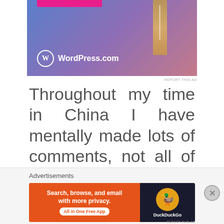[Figure (photo): WordPress.com advertisement banner with purple/pink gradient background, a lipstick product partially visible on the right, WordPress logo (W in circle) and WordPress.com text in white at bottom left.]
REPORT THIS AD
Throughout my time in China I have mentally made lots of comments, not all of them appropriate, to drivers as they speed past me or cut in front of my bike, but this right to...
Advertisements
[Figure (screenshot): DuckDuckGo advertisement: orange left panel with text 'Search, browse, and email with more privacy. All in One Free App', dark right panel with DuckDuckGo duck logo and brand name.]
REPORT THIS AD